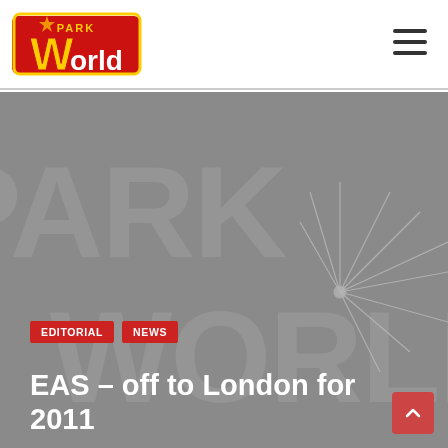Park World
[Figure (illustration): Park World logo with red, yellow, and dark lettering on white background, top-left of header]
[Figure (illustration): Park World hero banner image — grey background with large ghosted PARK WORLD text and starburst graphic]
EDITORIAL   NEWS
EAS – off to London for 2011